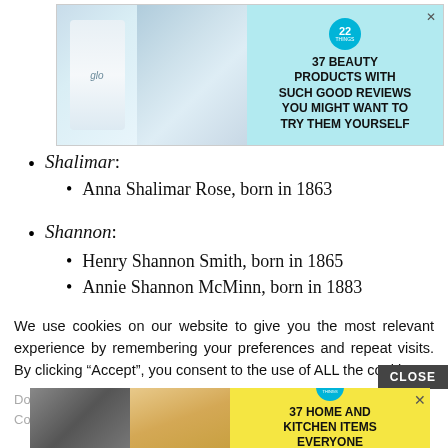[Figure (other): Advertisement banner: teal background with beauty product images and text '37 BEAUTY PRODUCTS WITH SUCH GOOD REVIEWS YOU MIGHT WANT TO TRY THEM YOURSELF' with '22' badge]
Shalimar:
Anna Shalimar Rose, born in 1863
Shannon:
Henry Shannon Smith, born in 1865
Annie Shannon McMinn, born in 1883
We use cookies on our website to give you the most relevant experience by remembering your preferences and repeat visits. By clicking “Accept”, you consent to the use of ALL the cookies.
Do not sell...
Coo...
[Figure (other): Advertisement banner: yellow background with home and kitchen product images and text '37 HOME AND KITCHEN ITEMS EVERYONE SHOULD OWN' with '22' badge]